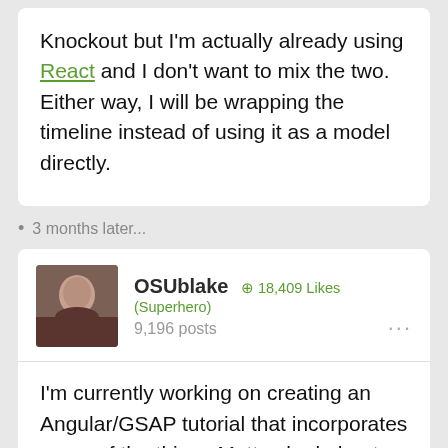Knockout but I'm actually already using React and I don't want to mix the two. Either way, I will be wrapping the timeline instead of using it as a model directly.
3 months later...
OSUblake  18,409 Likes (Superhero)  9,196 posts
I'm currently working on creating an Angular/GSAP tutorial that incorporates many of the things Matt asked about. I've created a playback service that can be injected anywhere your app, allowing you to